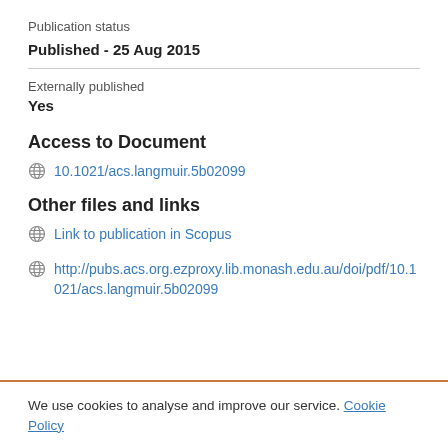Publication status
Published - 25 Aug 2015
Externally published
Yes
Access to Document
10.1021/acs.langmuir.5b02099
Other files and links
Link to publication in Scopus
http://pubs.acs.org.ezproxy.lib.monash.edu.au/doi/pdf/10.1021/acs.langmuir.5b02099
We use cookies to analyse and improve our service. Cookie Policy